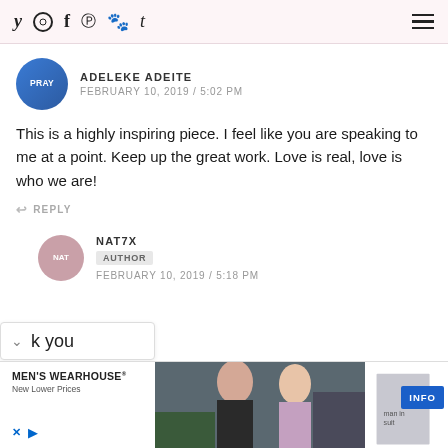Social media icons: Twitter, Instagram, Facebook, Pinterest, Snapchat, Tumblr; Hamburger menu
ADELEKE ADEITE
FEBRUARY 10, 2019 / 5:02 PM
This is a highly inspiring piece. I feel like you are speaking to me at a point. Keep up the great work. Love is real, love is who we are!
REPLY
NAT7X
AUTHOR
FEBRUARY 10, 2019 / 5:18 PM
k you
[Figure (photo): Advertisement banner: Men's Wearhouse with couple in formalwear and man in suit, INFO button]